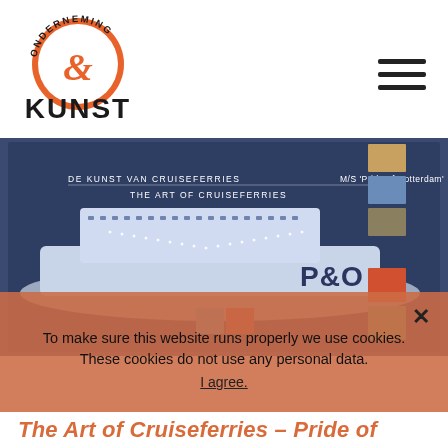[Figure (logo): Onderneming & Kunst circular logo with orange semi-circle and ampersand, bold black text KUNST below]
[Figure (photo): Book cover photo showing a P&O cruise ferry ship model on dark blue background with text 'DE KUNST VAN CRUISEFERRIES', 'M/S Pride of Rotterdam', 'THE ART OF CRUISEFERRIES' and small artwork thumbnails]
To make sure this website runs properly we use cookies. These cookies do not use any personal data.
I agree.
The Art of Cruiseferries – Pride of